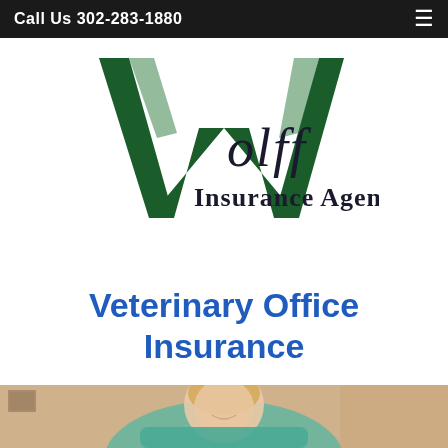Call Us 302-283-1880
[Figure (logo): Wolff Insurance Agency logo with large dark green W and serif text]
Veterinary Office Insurance
[Figure (photo): Photo of a smiling female veterinarian in a teal top examining a patient]